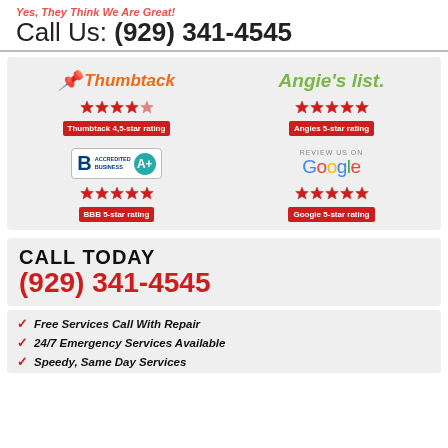Yes, They Think We Are Great!
Call Us: (929) 341-4545
[Figure (infographic): Ratings infographic showing Thumbtack 4.5-star rating, Angies 5-star rating, BBB Accredited Business A+ 5-star rating, and Google 5-star rating]
CALL TODAY
(929) 341-4545
Free Services Call With Repair
24/7 Emergency Services Available
Speedy, Same Day Services